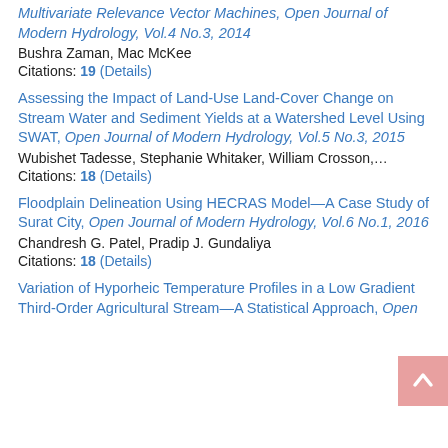Multivariate Relevance Vector Machines, Open Journal of Modern Hydrology, Vol.4 No.3, 2014
Bushra Zaman, Mac McKee
Citations: 19 (Details)
Assessing the Impact of Land-Use Land-Cover Change on Stream Water and Sediment Yields at a Watershed Level Using SWAT, Open Journal of Modern Hydrology, Vol.5 No.3, 2015
Wubishet Tadesse, Stephanie Whitaker, William Crosson,...
Citations: 18 (Details)
Floodplain Delineation Using HECRAS Model—A Case Study of Surat City, Open Journal of Modern Hydrology, Vol.6 No.1, 2016
Chandresh G. Patel, Pradip J. Gundaliya
Citations: 18 (Details)
Variation of Hyporheic Temperature Profiles in a Low Gradient Third-Order Agricultural Stream—A Statistical Approach, Open